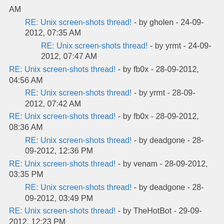AM
RE: Unix screen-shots thread! - by gholen - 24-09-2012, 07:35 AM
RE: Unix screen-shots thread! - by yrmt - 24-09-2012, 07:47 AM
RE: Unix screen-shots thread! - by fb0x - 28-09-2012, 04:56 AM
RE: Unix screen-shots thread! - by yrmt - 28-09-2012, 07:42 AM
RE: Unix screen-shots thread! - by fb0x - 28-09-2012, 08:36 AM
RE: Unix screen-shots thread! - by deadgone - 28-09-2012, 12:36 PM
RE: Unix screen-shots thread! - by venam - 28-09-2012, 03:35 PM
RE: Unix screen-shots thread! - by deadgone - 28-09-2012, 03:49 PM
RE: Unix screen-shots thread! - by TheHotBot - 29-09-2012, 12:23 PM
RE: Unix screen-shots thread! - by deadgone - 29-09-2012, 12:33 PM
RE: Unix screen-shots thread! - by OpenSource - 02-10-2012, 12:57 PM